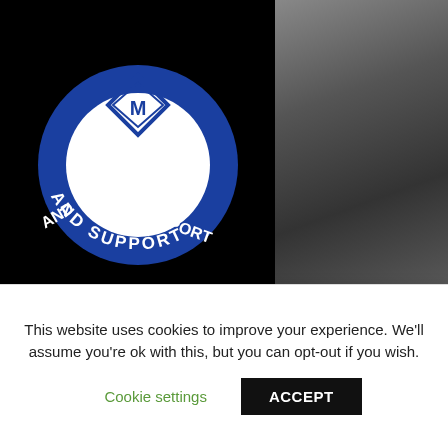[Figure (logo): IATSE/union 'Strike and Support' circular logo in blue and black with white text and diamond symbol]
[Figure (photo): Photo of makeup brushes in containers on a makeup artist's table]
View more on Instagram
4,823 likes
morag_ross_makeup_artist
This website uses cookies to improve your experience. We'll assume you're ok with this, but you can opt-out if you wish.
Cookie settings
ACCEPT